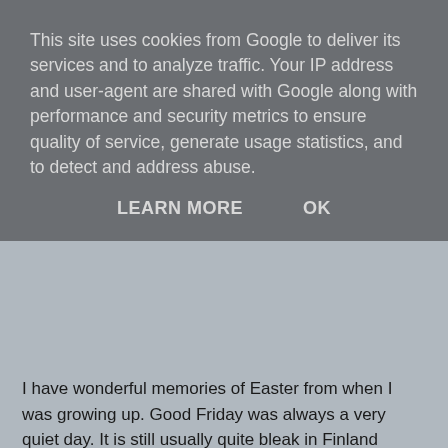This site uses cookies from Google to deliver its services and to analyze traffic. Your IP address and user-agent are shared with Google along with performance and security metrics to ensure quality of service, generate usage statistics, and to detect and address abuse.
LEARN MORE   OK
I have wonderful memories of Easter from when I was growing up. Good Friday was always a very quiet day. It is still usually quite bleak in Finland around Easter time so vases full of daffodils and catkins seemed so bright and cheerful. Signs of new spring that was around the corner. And there is a wonderful Easter pudding in Finland that I love too called pasha. But looking back, my parents manage to convey us a sense of Easter being something that they valued and held precious, not because of what we did but because what it stood for.
So, beyond my exasperation of the school focusing more** on Easter Bunny than on the crucifixion (and from a teachers point of view it it is probably much easier to talk about fluffy bunny than a man dying on the cross) as the reason for